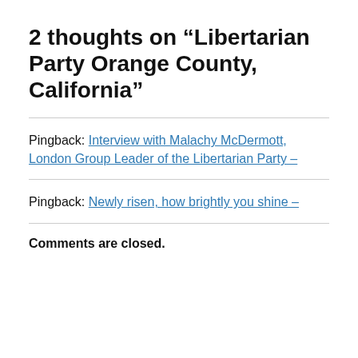2 thoughts on “Libertarian Party Orange County, California”
Pingback: Interview with Malachy McDermott, London Group Leader of the Libertarian Party -
Pingback: Newly risen, how brightly you shine -
Comments are closed.